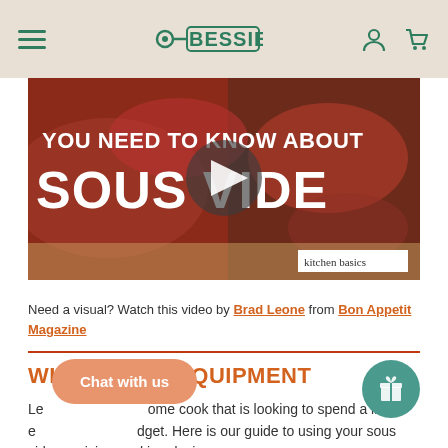Bessie — navigation header with hamburger menu, logo, user and cart icons
[Figure (screenshot): Video thumbnail showing sliced beef/steak on cutting board with text 'YOU NEED TO KNOW ABOUT SOUS VIDE' and play button overlay, with 'kitchen basics' label in bottom right]
Need a visual? Watch this video by Brad Leone from Bon Appetit Magazine
WITH FANCY EQUIPMENT
Let... some cook that is looking to spend a little e... dget. Here is our guide to using your sous vide precision cooking device.